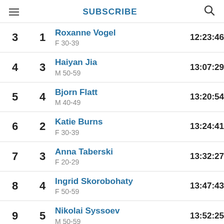SUBSCRIBE
| Overall | Division | Name / Category | Time |
| --- | --- | --- | --- |
| 3 | 1 | Roxanne Vogel
F 30-39 | 12:23:46 |
| 4 | 3 | Haiyan Jia
M 50-59 | 13:07:29 |
| 5 | 4 | Bjorn Flatt
M 40-49 | 13:20:54 |
| 6 | 2 | Katie Burns
F 30-39 | 13:24:41 |
| 7 | 3 | Anna Taberski
F 20-29 | 13:32:27 |
| 8 | 4 | Ingrid Skorobohaty
F 50-59 | 13:47:43 |
| 9 | 5 | Nikolai Syssoev
M 50-59 | 13:52:25 |